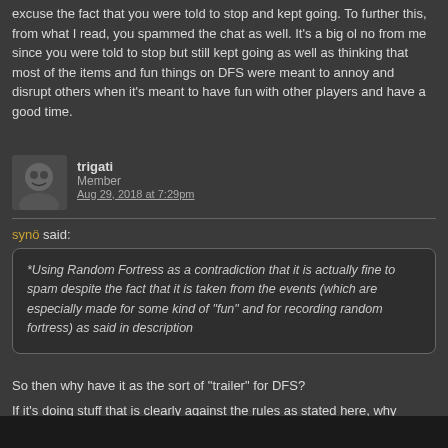excuse the fact that you were told to stop and kept going. To further this, from what I read, you spammed the chat as well. It's a big ol no from me since you were told to stop but still kept going as well as thinking that most of the items and fun things on DFS were meant to annoy and disrupt others when it's meant to have fun with other players and have a good time.
trigati
Member
Aug 29, 2018 at 7:29pm
synö said:
*Using Random Fortress as a contradiction that it is actually fine to spam despite the fact that it is taken from the events (which are especially made for some kind of "fun" and for recording random fortress) as said in description
So then why have it as the sort of "trailer" for DFS?
If it's doing stuff that is clearly against the rules as stated here, why bother putting it in the video all together?